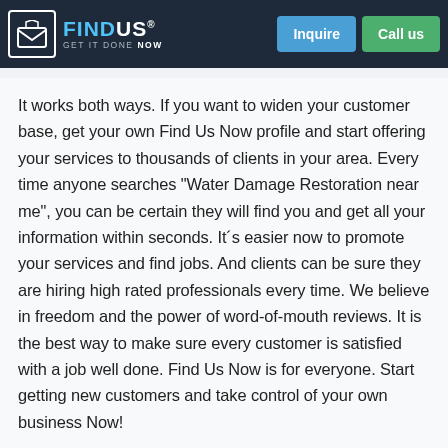professionals and customers together. Give our search engine a try!
[Figure (logo): Find Us Now logo with house/envelope icon, tagline GET IT DONE NOW, with Inquire and Call us buttons]
It works both ways. If you want to widen your customer base, get your own Find Us Now profile and start offering your services to thousands of clients in your area. Every time anyone searches “Water Damage Restoration near me”, you can be certain they will find you and get all your information within seconds. Itʹs easier now to promote your services and find jobs. And clients can be sure they are hiring high rated professionals every time. We believe in freedom and the power of word-of-mouth reviews. It is the best way to make sure every customer is satisfied with a job well done. Find Us Now is for everyone. Start getting new customers and take control of your own business Now!
Donʹt waste your entire morning shopping around and trying to find a local pro when you need one. Find Us Now makes it easy for you and your community to find small businesses or